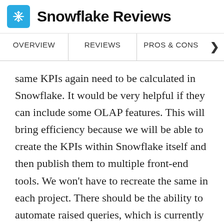Snowflake Reviews
OVERVIEW   REVIEWS   PROS & CONS
same KPIs again need to be calculated in Snowflake. It would be very helpful if they can include some OLAP features. This will bring efficiency because we will be able to create the KPIs within Snowflake itself and then publish them to multiple front-end tools. We won't have to recreate the same in each project. There should be the ability to automate raised queries, which is currently not possible. There should also be something for Exception Aggregation and things like that."